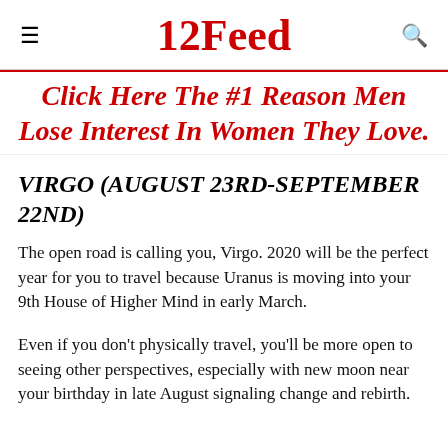12Feed
Click Here The #1 Reason Men Lose Interest In Women They Love.
VIRGO (AUGUST 23RD-SEPTEMBER 22ND)
The open road is calling you, Virgo. 2020 will be the perfect year for you to travel because Uranus is moving into your 9th House of Higher Mind in early March.
Even if you don't physically travel, you'll be more open to seeing other perspectives, especially with new moon near your birthday in late August signaling change and rebirth.